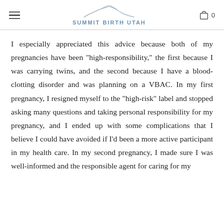SUMMIT BIRTH UTAH
I especially appreciated this advice because both of my pregnancies have been "high-responsibility," the first because I was carrying twins, and the second because I have a blood-clotting disorder and was planning on a VBAC. In my first pregnancy, I resigned myself to the "high-risk" label and stopped asking many questions and taking personal responsibility for my pregnancy, and I ended up with some complications that I believe I could have avoided if I'd been a more active participant in my health care. In my second pregnancy, I made sure I was well-informed and the responsible agent for caring for my